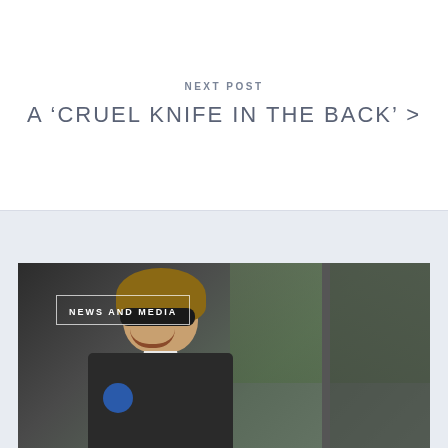NEXT POST
A ‘CRUEL KNIFE IN THE BACK’ >
[Figure (photo): A smiling woman in a transit worker uniform with sunglasses and an ATU badge, standing in a bus doorway. A 'NEWS AND MEDIA' tag label overlays the image.]
NEWS AND MEDIA